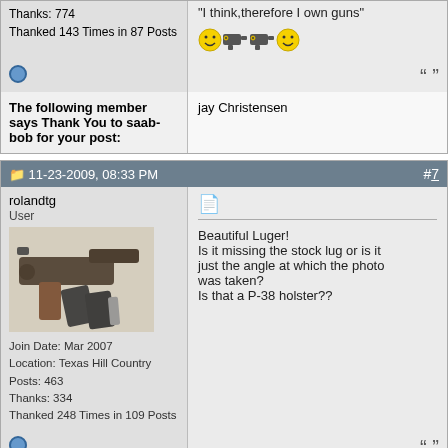Thanks: 774
Thanked 143 Times in 87 Posts
"I think,therefore I own guns"
The following member says Thank You to saab-bob for your post:
jay Christensen
11-23-2009, 08:33 PM   #7
rolandtg
User
[Figure (photo): Photo of a Luger pistol with magazines]
Join Date: Mar 2007
Location: Texas Hill Country
Posts: 463
Thanks: 334
Thanked 248 Times in 109 Posts
Beautiful Luger!
Is it missing the stock lug or is it just the angle at which the photo was taken?
Is that a P-38 holster??